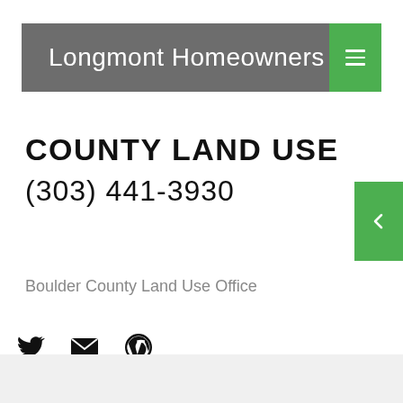Longmont Homeowners
COUNTY LAND USE
(303) 441-3930
Boulder County Land Use Office
[Figure (other): Social media icons: Twitter bird, envelope/email, WordPress logo]